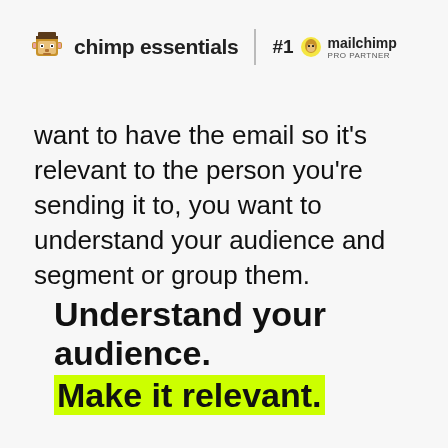[Figure (logo): Chimp Essentials logo with pixel-art monkey icon and text 'chimp essentials', followed by a vertical divider, then '#1 mailchimp PRO PARTNER' badge]
want to have the email so it's relevant to the person you're sending it to, you want to understand your audience and segment or group them.
Understand your audience.
Make it relevant.